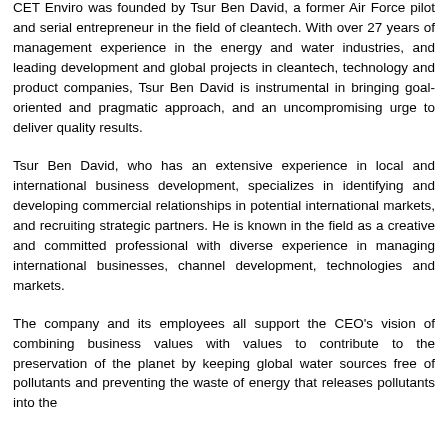CET Enviro was founded by Tsur Ben David, a former Air Force pilot and serial entrepreneur in the field of cleantech. With over 27 years of management experience in the energy and water industries, and leading development and global projects in cleantech, technology and product companies, Tsur Ben David is instrumental in bringing goal-oriented and pragmatic approach, and an uncompromising urge to deliver quality results.
Tsur Ben David, who has an extensive experience in local and international business development, specializes in identifying and developing commercial relationships in potential international markets, and recruiting strategic partners. He is known in the field as a creative and committed professional with diverse experience in managing international businesses, channel development, technologies and markets.
The company and its employees all support the CEO's vision of combining business values with values to contribute to the preservation of the planet by keeping global water sources free of pollutants and preventing the waste of energy that releases pollutants into the